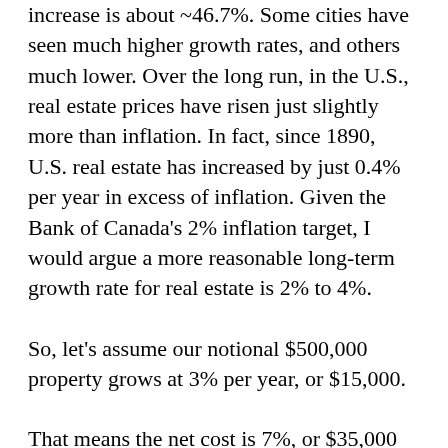increase is about ~46.7%. Some cities have seen much higher growth rates, and others much lower. Over the long run, in the U.S., real estate prices have risen just slightly more than inflation. In fact, since 1890, U.S. real estate has increased by just 0.4% per year in excess of inflation. Given the Bank of Canada's 2% inflation target, I would argue a more reasonable long-term growth rate for real estate is 2% to 4%.
So, let's assume our notional $500,000 property grows at 3% per year, or $15,000.
That means the net cost is 7%, or $35,000 per year, minus 3%, or $15,000 per year, totalling 4%, or $20,000 net per year.
If you are contemplating a $500,000 vacation property purchase, and you think my assumptions are wrong, it's easy to adjust the numbers yourself.